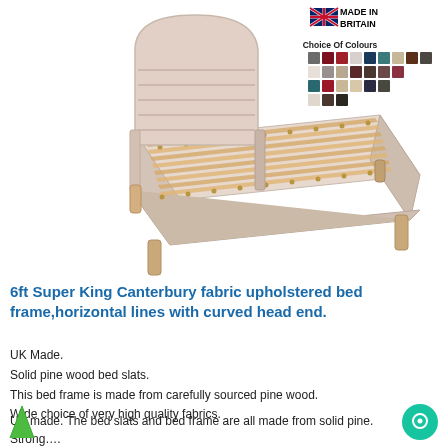[Figure (photo): Fabric upholstered bed frame with curved headboard featuring horizontal lines, pink/beige fabric, wooden slats visible, tapered wooden legs. Made in Britain badge and colour swatches grid shown in top right.]
6ft Super King Canterbury fabric upholstered bed frame,horizontal lines with curved head end.
UK Made.
Solid pine wood bed slats.
This bed frame is made from carefully sourced pine wood.
Wide choice of very high quality fabrics.
UK made. The bed slats and bed frame are all made from solid pine. Strong....